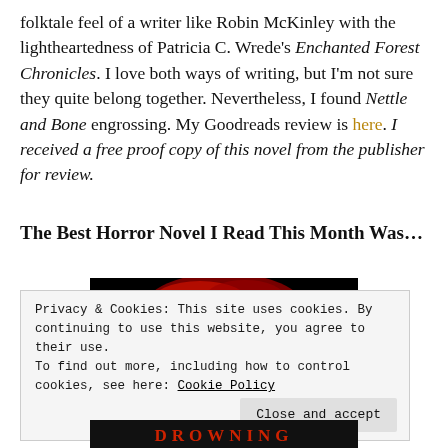folktale feel of a writer like Robin McKinley with the lightheartedness of Patricia C. Wrede's Enchanted Forest Chronicles. I love both ways of writing, but I'm not sure they quite belong together. Nevertheless, I found Nettle and Bone engrossing. My Goodreads review is here. I received a free proof copy of this novel from the publisher for review.
The Best Horror Novel I Read This Month Was...
[Figure (photo): Book cover photo showing a dark red and black image, partially visible]
Privacy & Cookies: This site uses cookies. By continuing to use this website, you agree to their use.
To find out more, including how to control cookies, see here: Cookie Policy
Close and accept
[Figure (photo): Bottom of book cover showing text DROWNING in red letters on dark background]